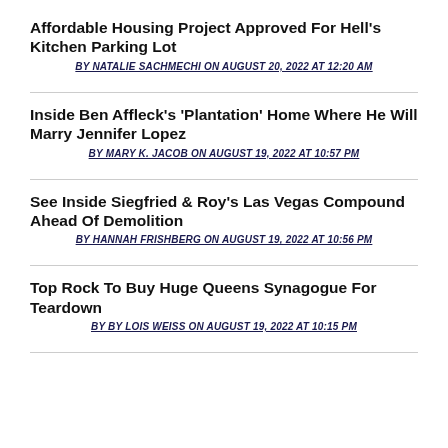Affordable Housing Project Approved For Hell's Kitchen Parking Lot
BY NATALIE SACHMECHI ON AUGUST 20, 2022 AT 12:20 AM
Inside Ben Affleck's 'Plantation' Home Where He Will Marry Jennifer Lopez
BY MARY K. JACOB ON AUGUST 19, 2022 AT 10:57 PM
See Inside Siegfried & Roy's Las Vegas Compound Ahead Of Demolition
BY HANNAH FRISHBERG ON AUGUST 19, 2022 AT 10:56 PM
Top Rock To Buy Huge Queens Synagogue For Teardown
BY BY LOIS WEISS ON AUGUST 19, 2022 AT 10:15 PM